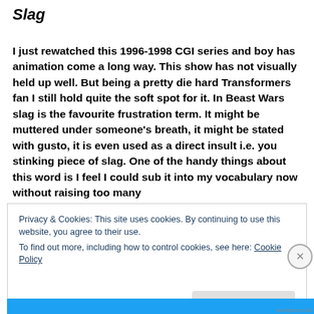Slag
I just rewatched this 1996-1998 CGI series and boy has animation come a long way. This show has not visually held up well. But being a pretty die hard Transformers fan I still hold quite the soft spot for it. In Beast Wars slag is the favourite frustration term. It might be muttered under someone's breath, it might be stated with gusto, it is even used as a direct insult i.e. you stinking piece of slag. One of the handy things about this word is I feel I could sub it into my vocabulary now without raising too many
Privacy & Cookies: This site uses cookies. By continuing to use this website, you agree to their use.
To find out more, including how to control cookies, see here: Cookie Policy